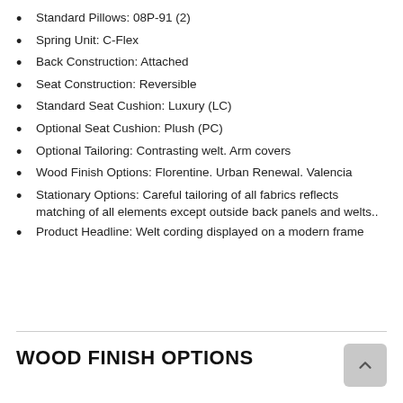Standard Pillows: 08P-91 (2)
Spring Unit: C-Flex
Back Construction: Attached
Seat Construction: Reversible
Standard Seat Cushion: Luxury (LC)
Optional Seat Cushion: Plush (PC)
Optional Tailoring: Contrasting welt. Arm covers
Wood Finish Options: Florentine. Urban Renewal. Valencia
Stationary Options: Careful tailoring of all fabrics reflects matching of all elements except outside back panels and welts..
Product Headline: Welt cording displayed on a modern frame
WOOD FINISH OPTIONS